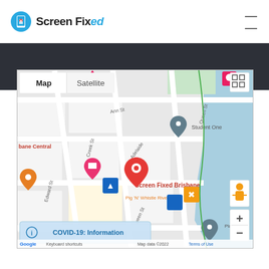[Figure (logo): Screen Fixed logo: blue circle with phone icon and 'Screen Fixed' text where 'ed' is in blue italic]
[Figure (map): Google Map screenshot showing Screen Fixed Brisbane location on Adelaide St, Brisbane CBD. Shows Map/Satellite toggle, zoom controls, street view button, fullscreen button, COVID-19 Information banner, and map footer with Google logo, Keyboard shortcuts, Map data 2022, Terms of Use.]